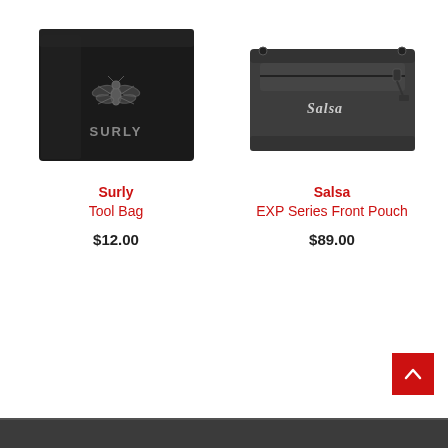[Figure (photo): Black Surly Tool Bag with fly/insect logo and SURLY text]
Surly
Tool Bag
$12.00
[Figure (photo): Dark grey Salsa EXP Series Front Pouch with Salsa logo and zipper]
Salsa
EXP Series Front Pouch
$89.00